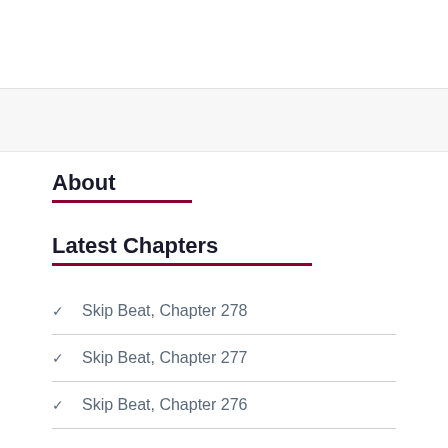About
Latest Chapters
✓ Skip Beat, Chapter 278
✓ Skip Beat, Chapter 277
✓ Skip Beat, Chapter 276